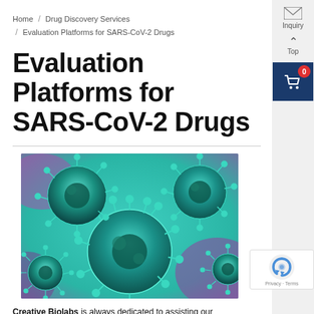Home / Drug Discovery Services / Evaluation Platforms for SARS-CoV-2 Drugs
Evaluation Platforms for SARS-CoV-2 Drugs
[Figure (photo): Microscopic 3D rendering of SARS-CoV-2 coronavirus particles with teal/turquoise coloring and spike proteins, against a purple and teal background]
Creative Biolabs is always dedicated to assisting our